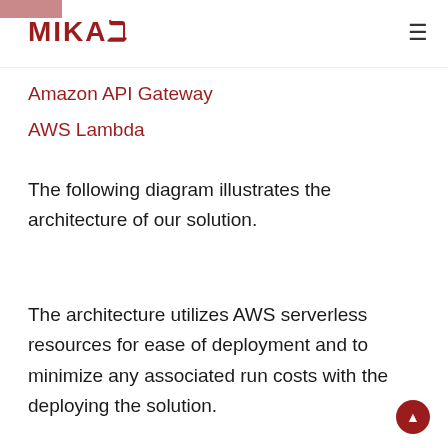MIKAI
Amazon API Gateway
AWS Lambda
The following diagram illustrates the architecture of our solution.
The architecture utilizes AWS serverless resources for ease of deployment and to minimize any associated run costs with the deploying the solution.